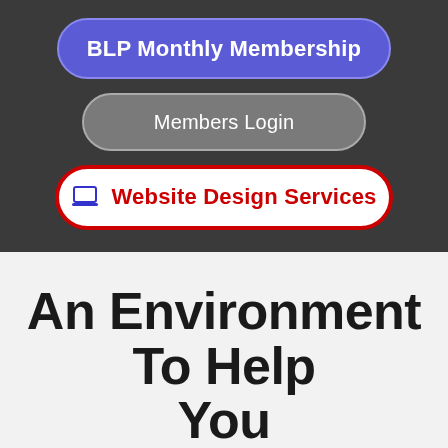[Figure (screenshot): Navigation button: BLP Monthly Membership - blue pill-shaped button with white bold text]
[Figure (screenshot): Navigation button: Members Login - gray pill-shaped button with white text]
[Figure (screenshot): Navigation button: Website Design Services - white pill-shaped button with red border, blue laptop icon, and red bold text]
An Environment To Help You